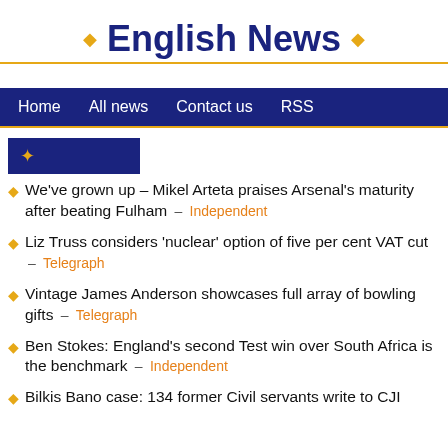English News
Home   All news   Contact us   RSS
♦
We've grown up – Mikel Arteta praises Arsenal's maturity after beating Fulham – Independent
Liz Truss considers 'nuclear' option of five per cent VAT cut – Telegraph
Vintage James Anderson showcases full array of bowling gifts – Telegraph
Ben Stokes: England's second Test win over South Africa is the benchmark – Independent
Bilkis Bano case: 134 former Civil servants write to CJI...